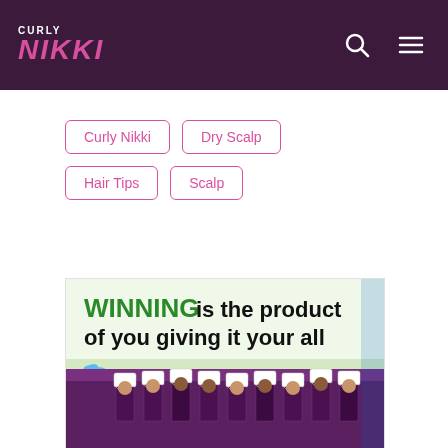Curly Nikki
Curly Nikki
Dry Scalp
Hair Tips
Scalp
[Figure (photo): Advertisement image showing text 'WINNING is the product of you giving it your all' over a photo of a marching band in purple and white uniforms with white hats]